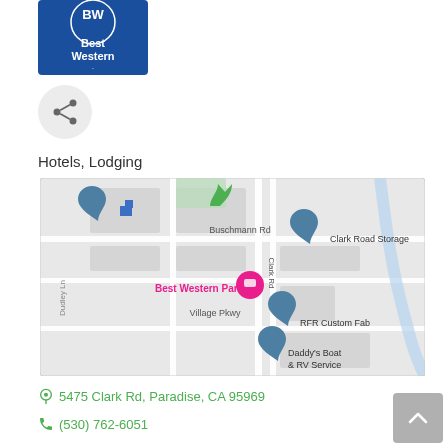[Figure (logo): Best Western logo — blue background with BW crown symbol and 'Best Western.' text in white]
[Figure (other): Share icon (three connected dots) inside a light gray circle]
Hotels, Lodging
[Figure (map): Google Maps screenshot showing Best Western Paradise location at Clark Rd and Village Pkwy in Paradise, CA. Nearby labels: Buschmann Rd, Clark Road Storage, RFR Custom Fab, Daddy's Boat & RV Service, Dudley Ln. Best Western Paradise label in pink/red with hotel pin.]
5475 Clark Rd, Paradise, CA 95969
(530) 762-6051